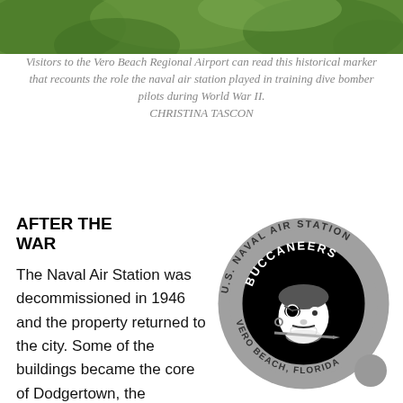[Figure (photo): Green foliage/plants photograph at top of page]
Visitors to the Vero Beach Regional Airport can read this historical marker that recounts the role the naval air station played in training dive bomber pilots during World War II. CHRISTINA TASCON
AFTER THE WAR
[Figure (logo): U.S. Naval Air Station Buccaneers Vero Beach Florida circular logo/patch with pirate face in center]
The Naval Air Station was decommissioned in 1946 and the property returned to the city. Some of the buildings became the core of Dodgertown, the